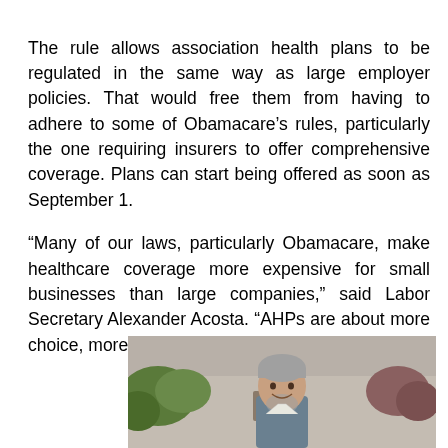The rule allows association health plans to be regulated in the same way as large employer policies. That would free them from having to adhere to some of Obamacare's rules, particularly the one requiring insurers to offer comprehensive coverage. Plans can start being offered as soon as September 1.
“Many of our laws, particularly Obamacare, make healthcare coverage more expensive for small businesses than large companies,” said Labor Secretary Alexander Acosta. “AHPs are about more choice, more access, and more coverage.”
[Figure (photo): A smiling middle-aged man with grey hair and a beard, photographed outdoors with greenery and a building in the background.]